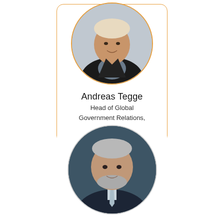[Figure (photo): Profile photo card of Andreas Tegge, a man in a dark blazer and grey shirt, shown in a circular photo frame with an orange border inside a rounded rectangle card with orange border.]
Andreas Tegge
Head of Global Government Relations, SAP
[Figure (photo): Profile photo of a man with grey hair and beard wearing a dark suit and light blue tie, shown in a circular frame with a light grey border, partially visible at bottom of page.]